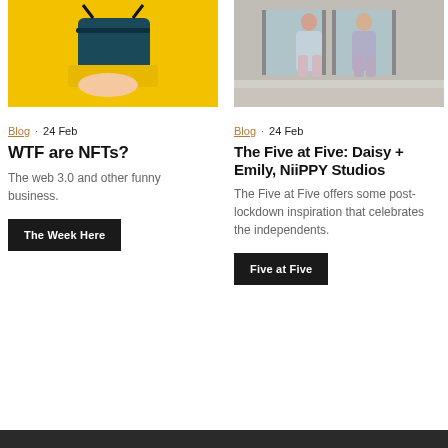[Figure (photo): Hand holding a teal/dark blue structured bag against a bright yellow background]
[Figure (photo): Two people standing in front of a storefront wearing tie-dye skirts and sandals]
Blog · 24 Feb
WTF are NFTs?
The web 3.0 and other funny business.
The Week Here
Blog · 24 Feb
The Five at Five: Daisy + Emily, NiiPPY Studios
The Five at Five offers some post-lockdown inspiration that celebrates the independents.
Five at Five